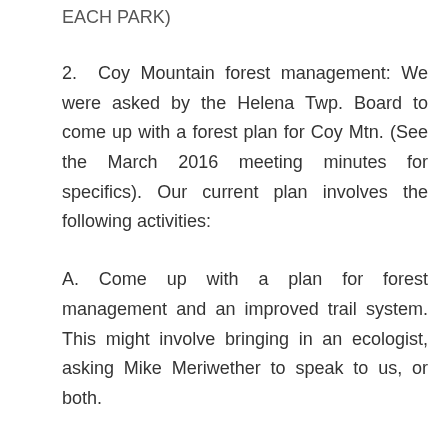EACH PARK)
2. Coy Mountain forest management: We were asked by the Helena Twp. Board to come up with a forest plan for Coy Mtn. (See the March 2016 meeting minutes for specifics). Our current plan involves the following activities:
A. Come up with a plan for forest management and an improved trail system. This might involve bringing in an ecologist, asking Mike Meriwether to speak to us, or both.
B. If the committee reworks the trail system before the overall forest management plan is completed, we may present it to the HT Board separately.